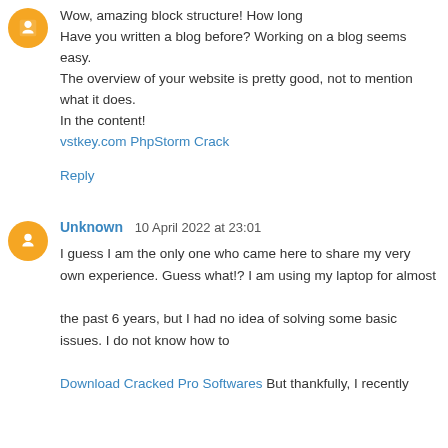Wow, amazing block structure! How long Have you written a blog before? Working on a blog seems easy.
The overview of your website is pretty good, not to mention what it does.
In the content!
vstkey.com
PhpStorm Crack
Reply
Unknown 10 April 2022 at 23:01
I guess I am the only one who came here to share my very own experience. Guess what!? I am using my laptop for almost

the past 6 years, but I had no idea of solving some basic issues. I do not know how to

Download Cracked Pro Softwares But thankfully, I recently